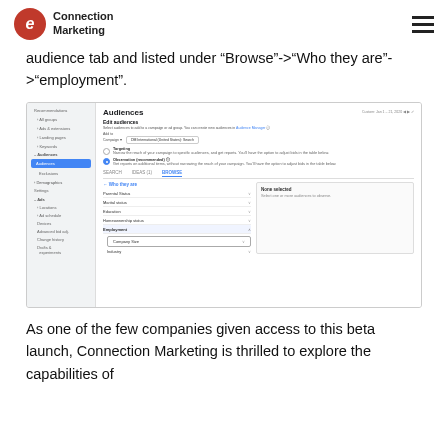Connection Marketing
audience tab and listed under “Browse”->“Who they are”->“employment”.
[Figure (screenshot): Google Ads Audiences interface screenshot showing the Audiences tab with Browse > Who they are > employment expanded, showing Company Size and Industry options]
As one of the few companies given access to this beta launch, Connection Marketing is thrilled to explore the capabilities of